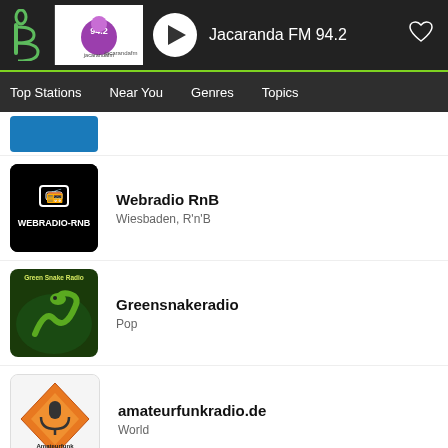[Figure (screenshot): App player bar showing Jacaranda FM 94.2 with play button and heart icon on dark background with green bottom border]
Top Stations   Near You   Genres   Topics
[Figure (screenshot): Partially visible top station thumbnail (blue/purple)]
[Figure (logo): Webradio RnB black logo with radio icon and WEBRADIO-RNB text]
Webradio RnB
Wiesbaden, R'n'B
[Figure (logo): Greensnakeradio logo with green snake illustration and Green Snake Radio text]
Greensnakeradio
Pop
[Figure (logo): Amateurfunkradio.de logo with orange microphone diamond shape and Amateurfunk Radio text]
amateurfunkradio.de
World
[Figure (photo): Radio High Power On Air partially visible thumbnail]
Radio Highpower On Air